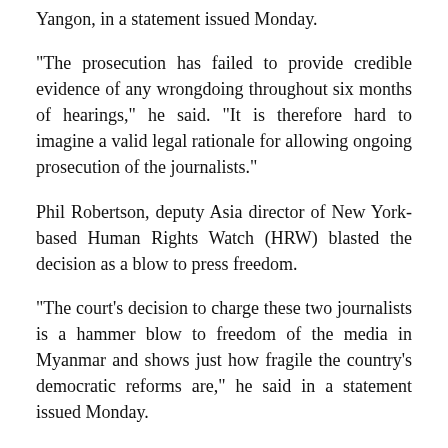Yangon, in a statement issued Monday.
“The prosecution has failed to provide credible evidence of any wrongdoing throughout six months of hearings,” he said. “It is therefore hard to imagine a valid legal rationale for allowing ongoing prosecution of the journalists.”
Phil Robertson, deputy Asia director of New York-based Human Rights Watch (HRW) blasted the decision as a blow to press freedom.
“The court's decision to charge these two journalists is a hammer blow to freedom of the media in Myanmar and shows just how fragile the country's democratic reforms are,” he said in a statement issued Monday.
“The Official Secrets Act is a legal outrage from a bygone colonial era that should have been abolished by Aung San Suu Kyi and the NLD government in the early days after they assumed power, not maintained